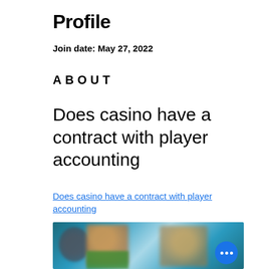Profile
Join date: May 27, 2022
ABOUT
Does casino have a contract with player accounting
Does casino have a contract with player accounting
[Figure (photo): Blurred image of people, possibly casino or gaming related, with a blue circular more-options button overlay in bottom right]